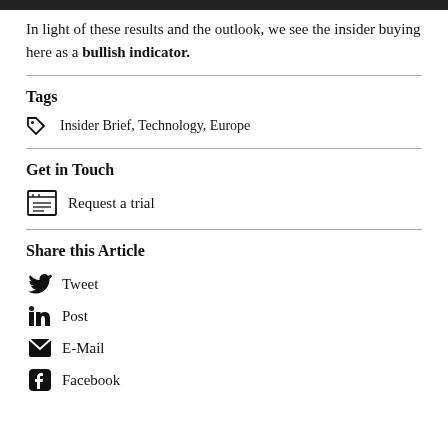In light of these results and the outlook, we see the insider buying here as a bullish indicator.
Tags
Insider Brief, Technology, Europe
Get in Touch
Request a trial
Share this Article
Tweet
Post
E-Mail
Facebook